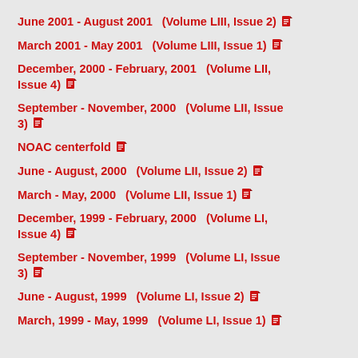June 2001 - August 2001   (Volume LIII, Issue 2) [PDF]
March 2001 - May 2001   (Volume LIII, Issue 1) [PDF]
December, 2000 - February, 2001   (Volume LII, Issue 4) [PDF]
September - November, 2000   (Volume LII, Issue 3) [PDF]
NOAC centerfold [PDF]
June - August, 2000   (Volume LII, Issue 2) [PDF]
March - May, 2000   (Volume LII, Issue 1) [PDF]
December, 1999 - February, 2000   (Volume LI, Issue 4) [PDF]
September - November, 1999   (Volume LI, Issue 3) [PDF]
June - August, 1999   (Volume LI, Issue 2) [PDF]
March, 1999 - May, 1999   (Volume LI, Issue 1) [PDF]